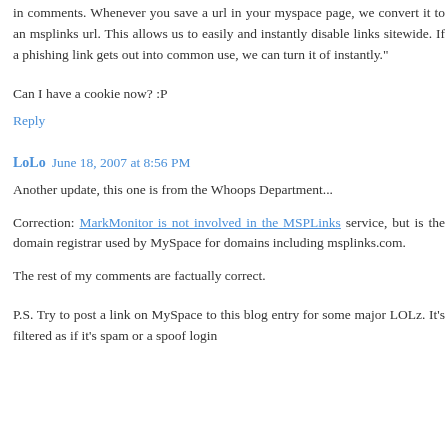"Tonight we started using msplinks on profiles, just like we've been using them in comments. Whenever you save a url in your myspace page, we convert it to an msplinks url. This allows us to easily and instantly disable links sitewide. If a phishing link gets out into common use, we can turn it of instantly."
Can I have a cookie now? :P
Reply
LoLo  June 18, 2007 at 8:56 PM
Another update, this one is from the Whoops Department...
Correction: MarkMonitor is not involved in the MSPLinks service, but is the domain registrar used by MySpace for domains including msplinks.com.
The rest of my comments are factually correct.
P.S. Try to post a link on MySpace to this blog entry for some major LOLz. It's filtered as if it's spam or a spoof login